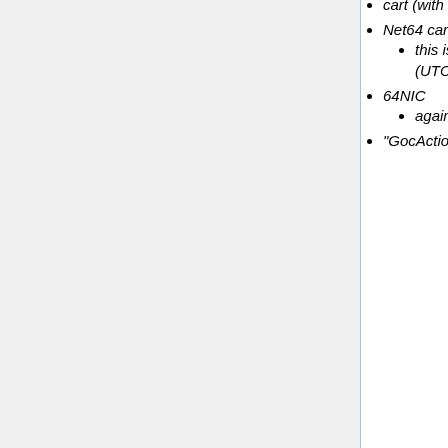cart (with battery backed up ram instead of rom). Gpz 23:01, 30 October 2010 (UTC)
Net64 cartridge support. ([31] (http://www.harbaum.org/till/c64/index.shtml))
this is exactly the same as "the final ethernet" (which is emulated) Gpz 23:27, 30 October 2010 (UTC)
64NIC
again, same as TFE. also has an optional eprom, which is equivalent to using cart8
"GocAction"